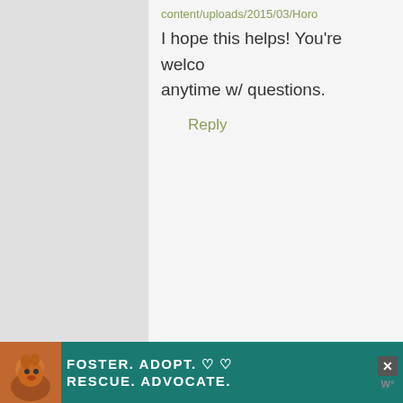content/uploads/2015/03/Horo
I hope this helps! You're welco anytime w/ questions.
Reply
Lenore Arbaugh says
November 3, 2021 at 8:46 p
I am so glad you made this post, D experience... bad testing by /Gene
[Figure (screenshot): Advertisement banner: FOSTER. ADOPT. RESCUE. ADVOCATE. with a dog photo on teal background. Close button and X visible on right.]